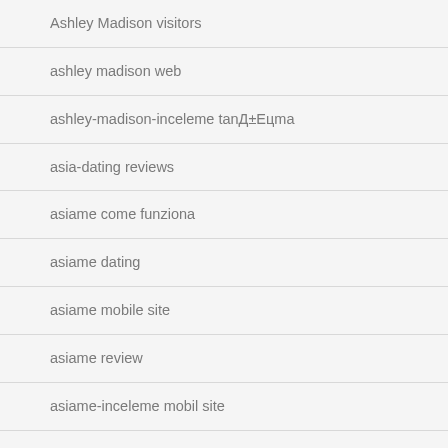Ashley Madison visitors
ashley madison web
ashley-madison-inceleme tanД±Eцma
asia-dating reviews
asiame come funziona
asiame dating
asiame mobile site
asiame review
asiame-inceleme mobil site